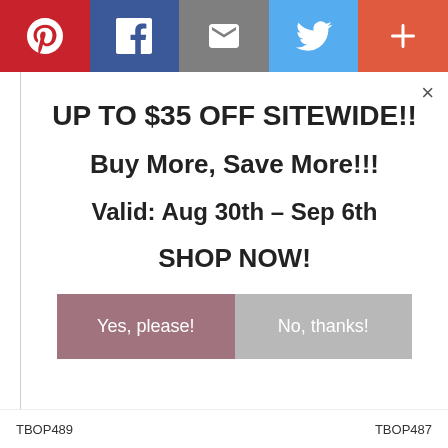[Figure (infographic): Social share bar with five buttons: Pinterest (red), Facebook (dark blue), Email (gray), Twitter (light blue), More/Plus (orange-red)]
×
UP TO $35 OFF SITEWIDE!!
Buy More, Save More!!!
Valid: Aug 30th – Sep 6th
SHOP NOW!
Yes, please!
No, thanks!
TBOP489   TBOP487   AddThis